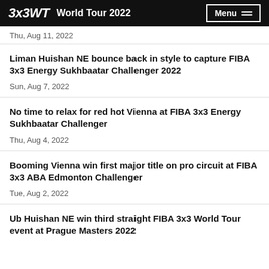3x3WT  World Tour 2022  Menu
Thu, Aug 11, 2022
Liman Huishan NE bounce back in style to capture FIBA 3x3 Energy Sukhbaatar Challenger 2022
Sun, Aug 7, 2022
No time to relax for red hot Vienna at FIBA 3x3 Energy Sukhbaatar Challenger
Thu, Aug 4, 2022
Booming Vienna win first major title on pro circuit at FIBA 3x3 ABA Edmonton Challenger
Tue, Aug 2, 2022
Ub Huishan NE win third straight FIBA 3x3 World Tour event at Prague Masters 2022